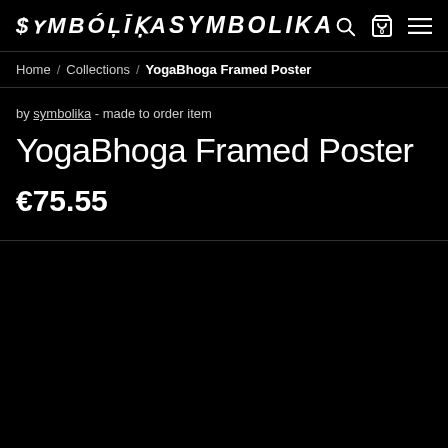SYMBOLIKA
Home / Collections / YogaBhoga Framed Poster
by symbolika - made to order item
YogaBhoga Framed Poster
€75.55